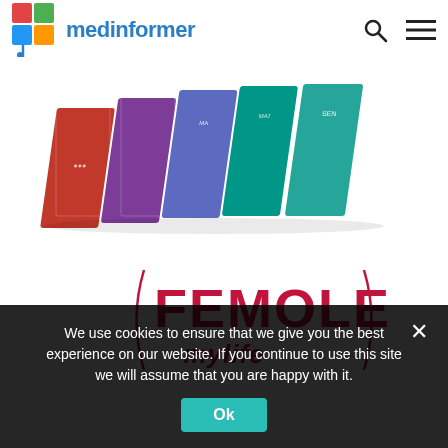medinformer
[Figure (photo): Row of Femolene mylife product boxes in various colors (red, purple, blue, teal, green) shown at an angle]
[Figure (logo): FEMOLENE mylife brand logo in pink/red text with decorative curved line]
We use cookies to ensure that we give you the best experience on our website. If you continue to use this site we will assume that you are happy with it.